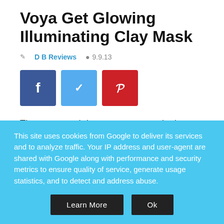Voya Get Glowing Illuminating Clay Mask
DB Reviews   9.9.13
[Figure (other): Social media share buttons: Facebook (blue), Twitter (light blue), Pinterest (red)]
The past month has seen me travel a lot. While I love travelling and enjoy every little break, travelling does take a toll on the skin. And what is
This site uses cookies from Google to deliver its services and to analyze traffic. Your IP address and user-agent are shared with Google along with performance and security metrics to ensure quality of service, generate usage statistics, and to detect and address abuse.
Learn More   Ok